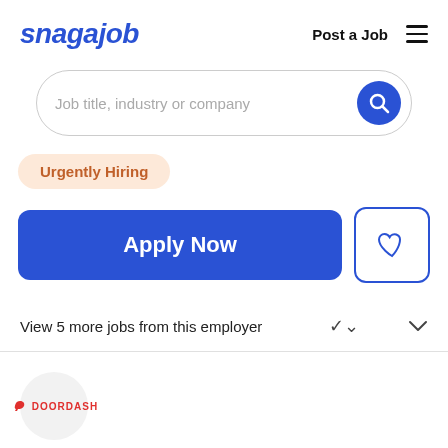snagajob | Post a Job ≡
[Figure (screenshot): Search bar with placeholder text 'Job title, industry or company' and a blue circular search button]
Urgently Hiring
Apply Now
View 5 more jobs from this employer
[Figure (logo): DoorDash logo - red dash icon with DOORDASH text in red capital letters inside a light grey circle]
DoorDash
Deliver with Door Dash - Nashville...